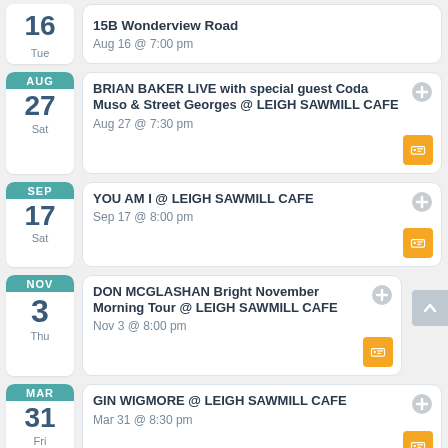Aug 16 - 15B Wonderview Road, Aug 16 @ 7:00 pm
AUG 27 Sat - BRIAN BAKER LIVE with special guest Coda Muso & Street Georges @ LEIGH SAWMILL CAFE, Aug 27 @ 7:30 pm
SEP 17 Sat - YOU AM I @ LEIGH SAWMILL CAFE, Sep 17 @ 8:00 pm
NOV 3 Thu - DON MCGLASHAN Bright November Morning Tour @ LEIGH SAWMILL CAFE, Nov 3 @ 8:00 pm
MAR 31 Fri - GIN WIGMORE @ LEIGH SAWMILL CAFE, Mar 31 @ 8:30 pm